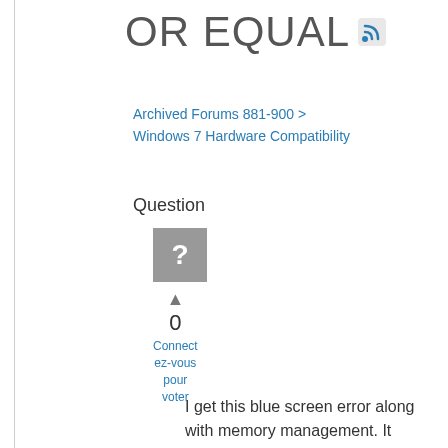OR EQUAL
Archived Forums 881-900 > Windows 7 Hardware Compatibility
Question
[Figure (other): Gray square avatar placeholder with white question mark]
▲
0
Connectez-vous pour voter
I get this blue screen error along with memory management. It doesn't tell me which system file caused it. Can anyone help?